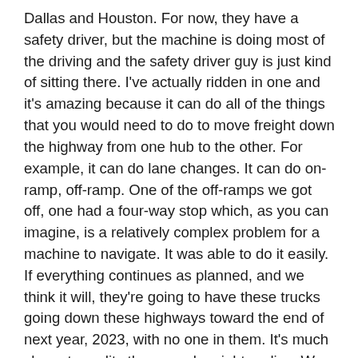Dallas and Houston. For now, they have a safety driver, but the machine is doing most of the driving and the safety driver guy is just kind of sitting there. I've actually ridden in one and it's amazing because it can do all of the things that you would need to do to move freight down the highway from one hub to the other. For example, it can do lane changes. It can do on-ramp, off-ramp. One of the off-ramps we got off, one had a four-way stop which, as you can imagine, is a relatively complex problem for a machine to navigate. It was able to do it easily. If everything continues as planned, and we think it will, they're going to have these trucks going down these highways toward the end of next year, 2023, with no one in them. It's much closer to reality than people might realize. We believe this is, by far and away, the best independent team in the market. And that's kind of the theme on these types on things when we invest in them. Joby (Aviation), which is the other SPAC that we did, is very similar. This company is leaps and bounds ahead of the competition by our estimates. We believed that from the beginning and that continues to be the case."